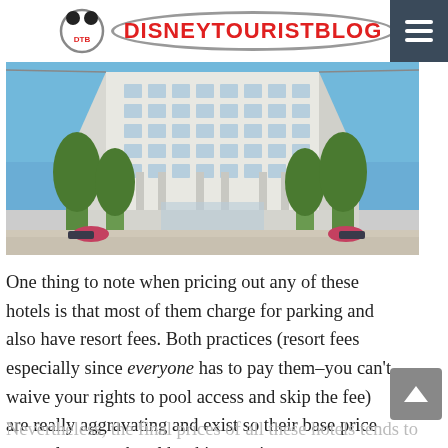DISNEYTOURISTBLOG
[Figure (photo): Exterior photo of a tall white modern hotel building with large trees and landscaping in front, blue sky background]
One thing to note when pricing out any of these hotels is that most of them charge for parking and also have resort fees. Both practices (resort fees especially since everyone has to pay them–you can't waive your rights to pool access and skip the fee) are really aggravating and exist so their base price seems lower on hotel booking engines.
Nevertheless, the final prices of all these hotels tends to be lower than other Walt Disney World hotels, making them